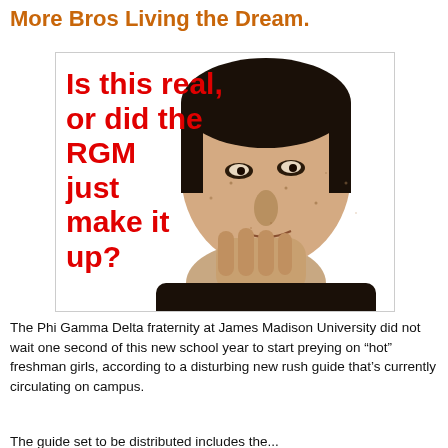More Bros Living the Dream.
[Figure (illustration): A stylized illustrated image of a man in a thinking pose with his hand on his chin, with bold red text overlaid reading: 'Is this real, or did the RGM just make it up?']
The Phi Gamma Delta fraternity at James Madison University did not wait one second of this new school year to start preying on “hot” freshman girls, according to a disturbing new rush guide that’s currently circulating on campus.
The guide set to be distributed includes the...